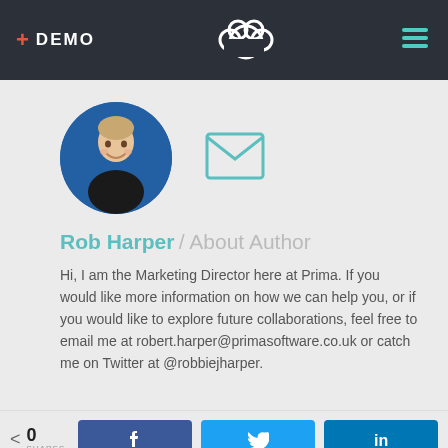+ DEMO
[Figure (illustration): Cloud/paw icon logo in white outline, centered in dark header]
[Figure (illustration): Hamburger menu icon in teal, right side of header]
[Figure (photo): Circular profile photo of Rob Harper, a man smiling, with blue background]
[Figure (illustration): Teal envelope/email icon]
Rob Harper / About Author
Hi, I am the Marketing Director here at Prima. If you would like more information on how we can help you, or if you would like to explore future collaborations, feel free to email me at robert.harper@primasoftware.co.uk or catch me on Twitter at @robbiejharper.
0 SHARES  Facebook  Twitter  LinkedIn